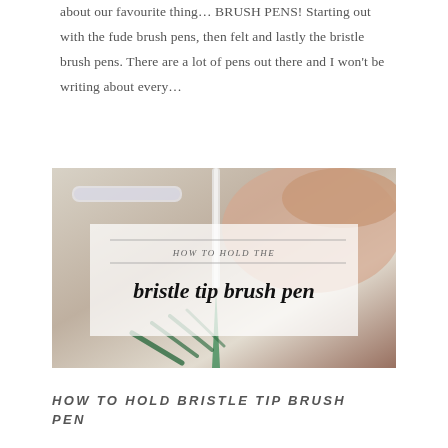about our favourite thing… BRUSH PENS! Starting out with the fude brush pens, then felt and lastly the bristle brush pens. There are a lot of pens out there and I won't be writing about every…
[Figure (photo): Photo of a hand holding a bristle tip brush pen over paper with green ink strokes, with a semi-transparent white overlay box containing text 'HOW TO HOLD THE bristle tip brush pen']
HOW TO HOLD BRISTLE TIP BRUSH PEN